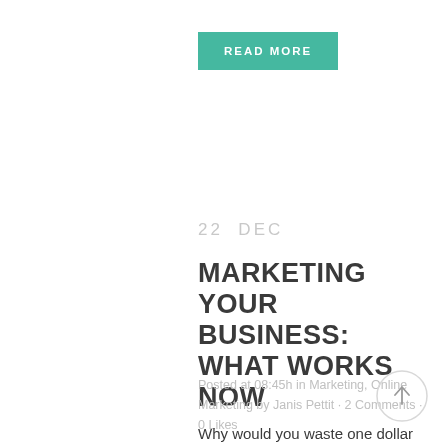READ MORE
22 DEC
MARKETING YOUR BUSINESS: WHAT WORKS NOW
Posted at 08:45h in Marketing, Online Marketing by Janis Pettit · 2 Comments · 0 Likes
Why would you waste one dollar or one hour on marketing that